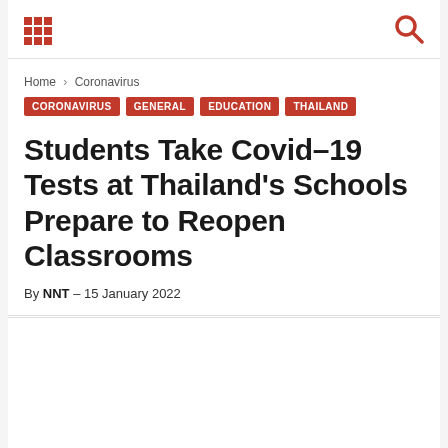grid icon | search icon
Home › Coronavirus
CORONAVIRUS
GENERAL
EDUCATION
THAILAND
Students Take Covid-19 Tests at Thailand's Schools Prepare to Reopen Classrooms
By NNT – 15 January 2022